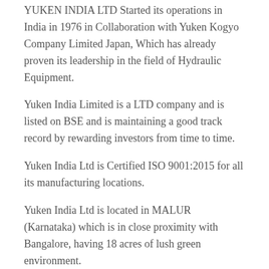YUKEN INDIA LTD Started its operations in India in 1976 in Collaboration with Yuken Kogyo Company Limited Japan, Which has already proven its leadership in the field of Hydraulic Equipment.
Yuken India Limited is a LTD company and is listed on BSE and is maintaining a good track record by rewarding investors from time to time.
Yuken India Ltd is Certified ISO 9001:2015 for all its manufacturing locations.
Yuken India Ltd is located in MALUR (Karnataka) which is in close proximity with Bangalore, having 18 acres of lush green environment.
YIL is nowadays a preferred choice of the consumers in India due to their Quality, Competitive Pricing, Customer Support, Wide Network, Prompt Service and Ready Availability in whole